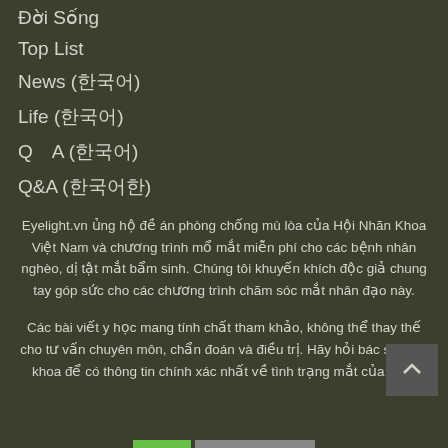Đời Sống
Top List
News (한국어)
Life (한국어)
Q　A (한국어)
Q&A (한국어한)
Eyelight.vn ủng hộ đề án phòng chống mù lòa của Hội Nhãn Khoa Việt Nam và chương trình mổ mắt miễn phí cho các bệnh nhân nghèo, dị tật mắt bẩm sinh. Chúng tôi khuyến khích độc giả chung tay góp sức cho các chương trình chăm sóc mắt nhân đạo này.
Các bài viết y học mang tính chất tham khảo, không thể thay thế cho tư vấn chuyên môn, chẩn đoán và điều trị. Hãy hỏi bác sĩ nhãn khoa để có thông tin chính xác nhất về tình trạng mắt của bạn.